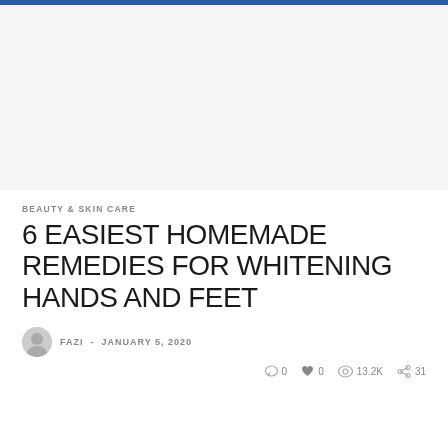[Figure (photo): Large image placeholder area (blank/white), representing a hero image for the article]
BEAUTY & SKIN CARE
6 EASIEST HOMEMADE REMEDIES FOR WHITENING HANDS AND FEET
FAZI - JANUARY 5, 2020
0  0  13.2K  31